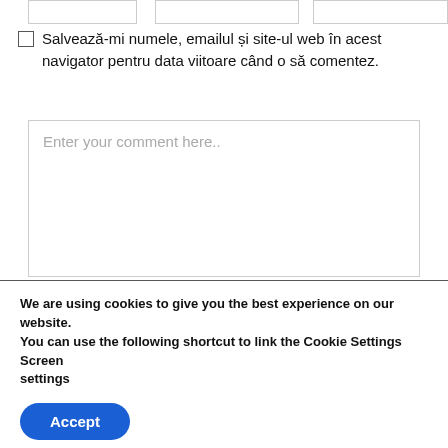[Figure (screenshot): Three form input boxes at the top of the page]
Salvează-mi numele, emailul și site-ul web în acest navigator pentru data viitoare când o să comentez.
[Figure (screenshot): Large comment textarea with placeholder text 'Enter your comment here..']
We are using cookies to give you the best experience on our website.
You can use the following shortcut to link the Cookie Settings Screen
settings
Accept